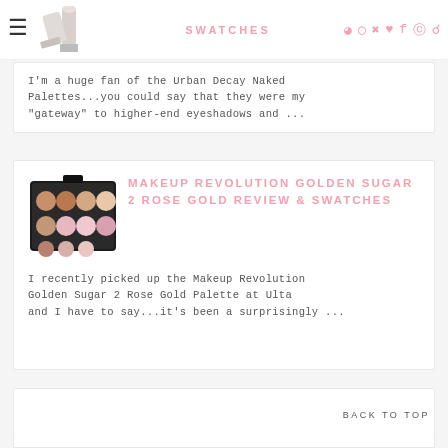SWATCHES
I'm a huge fan of the Urban Decay Naked Palettes...you could say that they were my "gateway" to higher-end eyeshadows and ...
MAKEUP REVOLUTION GOLDEN SUGAR 2 ROSE GOLD REVIEW & SWATCHES
I recently picked up the Makeup Revolution Golden Sugar 2 Rose Gold Palette at Ulta and I have to say...it's been a surprisingly ...
BACK TO TOP